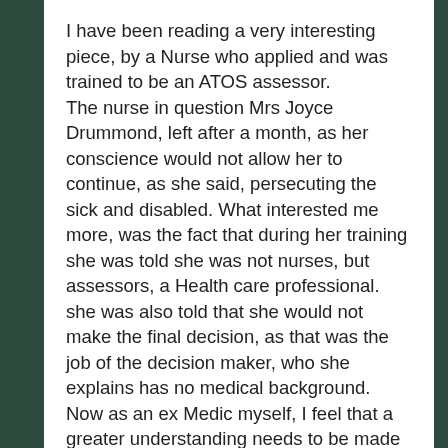I have been reading a very interesting piece, by a Nurse who applied and was trained to be an ATOS assessor. The nurse in question Mrs Joyce Drummond, left after a month, as her conscience would not allow her to continue, as she said, persecuting the sick and disabled. What interested me more, was the fact that during her training she was told she was not nurses, but assessors, a Health care professional. she was also told that she would not make the final decision, as that was the job of the decision maker, who she explains has no medical background. Now as an ex Medic myself, I feel that a greater understanding needs to be made available, as to who has what powers. if the decision maker has no medical qualification, then they must be guided by what has been written on the computer | IMA